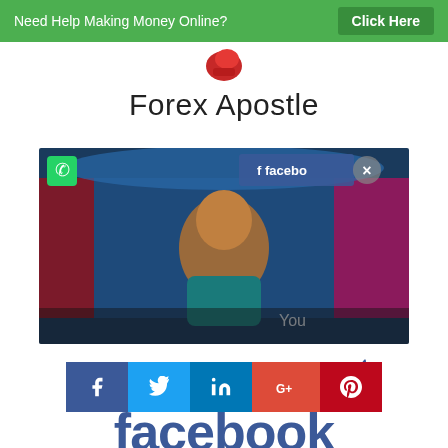Need Help Making Money Online?  Click Here
Forex Apostle
[Figure (screenshot): Blurred video thumbnail showing a person in a TV studio setting with Facebook overlay and YouTube watermark]
[Figure (infographic): Social sharing bar with Facebook, Twitter, LinkedIn, Google+, and Pinterest buttons, and partial Facebook logo below]